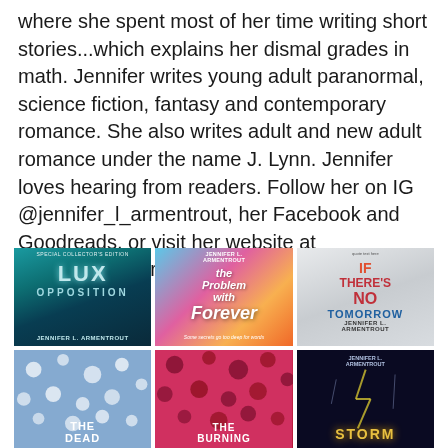where she spent most of her time writing short stories...which explains her dismal grades in math. Jennifer writes young adult paranormal, science fiction, fantasy and contemporary romance. She also writes adult and new adult romance under the name J. Lynn. Jennifer loves hearing from readers. Follow her on IG @jennifer_l_armentrout, her Facebook and Goodreads, or visit her website at jenniferlarmentrout.com.
[Figure (photo): Six book covers by Jennifer L. Armentrout arranged in a 3x2 grid: Lux Opposition (teal), The Problem with Forever (colorful watercolor), If There's No Tomorrow (white/grey), The Deimos (blue floral), The Burning (pink/red floral), Storm (dark with lightning)]